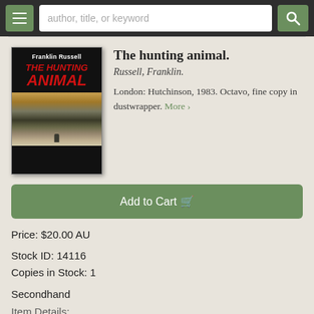author, title, or keyword [search bar]
[Figure (photo): Book cover of 'The Hunting Animal' by Franklin Russell, showing the title in red text on a dark background with a landscape scene below]
The hunting animal.
Russell, Franklin.
London: Hutchinson, 1983. Octavo, fine copy in dustwrapper. More ›
Add to Cart 🛒
Price: $20.00 AU
Stock ID: 14116
Copies in Stock: 1
Secondhand
Item Details: